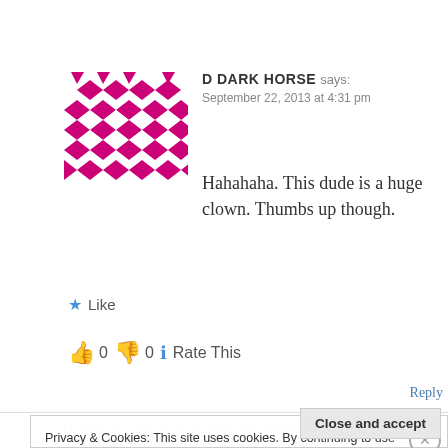[Figure (illustration): Decorative avatar with pink/magenta diamond and triangle geometric pattern on white background]
D DARK HORSE says:
September 22, 2013 at 4:31 pm
Hahahaha. This dude is a huge clown. Thumbs up though.
★ Like
👍 0 👎 0 ℹ Rate This
Reply
Privacy & Cookies: This site uses cookies. By continuing to use this website, you agree to their use. To find out more, including how to control cookies, see here: Cookie Policy
Close and accept